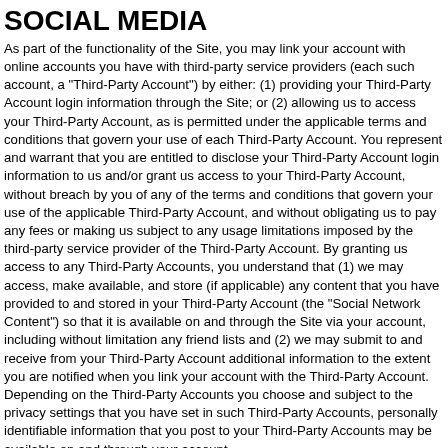SOCIAL MEDIA
As part of the functionality of the Site, you may link your account with online accounts you have with third-party service providers (each such account, a "Third-Party Account") by either: (1) providing your Third-Party Account login information through the Site; or (2) allowing us to access your Third-Party Account, as is permitted under the applicable terms and conditions that govern your use of each Third-Party Account. You represent and warrant that you are entitled to disclose your Third-Party Account login information to us and/or grant us access to your Third-Party Account, without breach by you of any of the terms and conditions that govern your use of the applicable Third-Party Account, and without obligating us to pay any fees or making us subject to any usage limitations imposed by the third-party service provider of the Third-Party Account. By granting us access to any Third-Party Accounts, you understand that (1) we may access, make available, and store (if applicable) any content that you have provided to and stored in your Third-Party Account (the "Social Network Content") so that it is available on and through the Site via your account, including without limitation any friend lists and (2) we may submit to and receive from your Third-Party Account additional information to the extent you are notified when you link your account with the Third-Party Account. Depending on the Third-Party Accounts you choose and subject to the privacy settings that you have set in such Third-Party Accounts, personally identifiable information that you post to your Third-Party Accounts may be available on and through your account